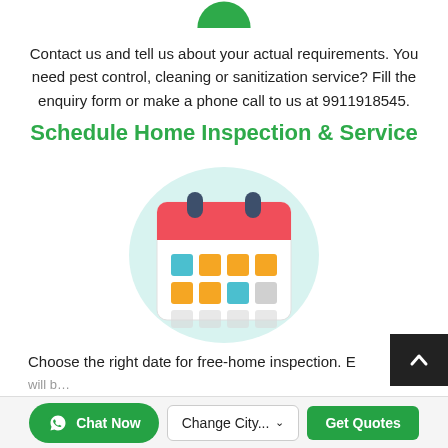Contact us and tell us about your actual requirements. You need pest control, cleaning or sanitization service? Fill the enquiry form or make a phone call to us at 9911918545.
Schedule Home Inspection & Service
[Figure (illustration): A flat illustration of a calendar with a red header, two dark blue rings at the top, and a grid of colored squares (blue, orange, and gray) on a light teal circular background.]
Choose the right date for free-home inspection. E... will b...